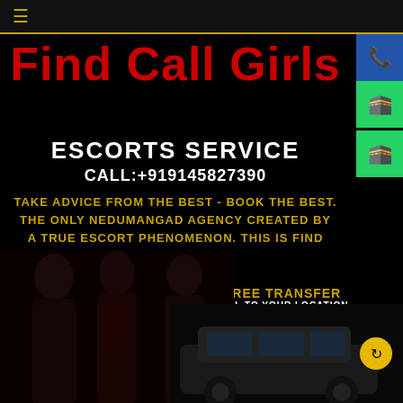≡
Find Call Girls
ESCORTS SERVICE
CALL:+919145827390
TAKE ADVICE FROM THE BEST - BOOK THE BEST. THE ONLY NEDUMANGAD AGENCY CREATED BY A TRUE ESCORT PHENOMENON. THIS IS FIND CALL GIRLS
FREE TRANSFER
GIRL TO YOUR LOCATION
VIP SERVICE
SATISFY YOUR DREAM WITH OUR ESCORTS
[Figure (photo): Three women posing and a large SUV/black car at the bottom, promotional escort service advertisement]
[Figure (photo): Black SUV luxury car with yellow circular arrow icon]